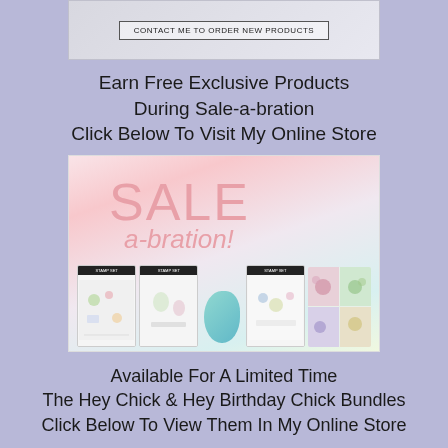[Figure (screenshot): Top cropped image showing a button labeled CONTACT ME TO ORDER NEW PRODUCTS on a light grey/marble background]
Earn Free Exclusive Products During Sale-a-bration Click Below To Visit My Online Store
[Figure (photo): Sale-a-bration promotional image with pink background showing SALE a-bration! text and various Stampin Up product stamp sets and patterned papers]
Available For A Limited Time The Hey Chick & Hey Birthday Chick Bundles Click Below To View Them In My Online Store